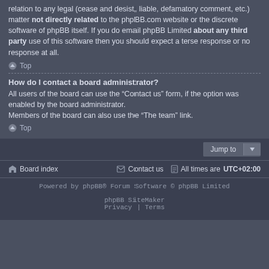relation to any legal (cease and desist, liable, defamatory comment, etc.) matter not directly related to the phpBB.com website or the discrete software of phpBB itself. If you do email phpBB Limited about any third party use of this software then you should expect a terse response or no response at all.
Top
How do I contact a board administrator?
All users of the board can use the “Contact us” form, if the option was enabled by the board administrator.
Members of the board can also use the “The team” link.
Top
Jump to
Board index   Contact us   All times are UTC+02:00
Powered by phpBB® Forum Software © phpBB Limited
phpBB SiteMaker
Privacy | Terms